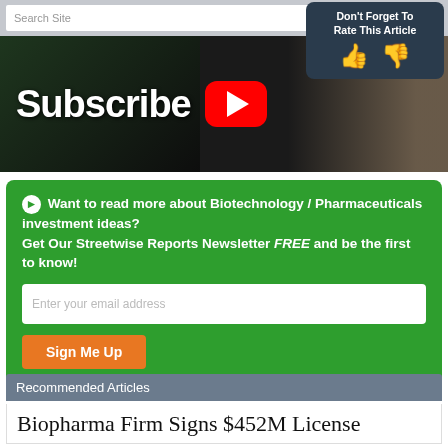[Figure (screenshot): Website search bar with search icon and 'Search Site' placeholder text]
[Figure (infographic): Don't Forget To Rate This Article box with thumbs up and thumbs down icons on dark teal background]
[Figure (photo): YouTube Subscribe banner with dark background, Subscribe text, YouTube play button logo, and partial person image]
Want to read more about Biotechnology / Pharmaceuticals investment ideas? Get Our Streetwise Reports Newsletter FREE and be the first to know!
Biopharma Firm Signs $452M License